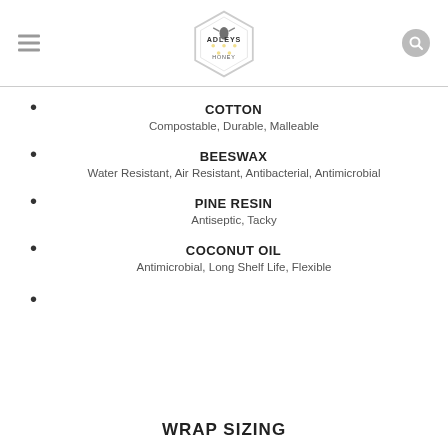ADLEYS HONEY
COTTON
Compostable, Durable, Malleable
BEESWAX
Water Resistant, Air Resistant, Antibacterial, Antimicrobial
PINE RESIN
Antiseptic, Tacky
COCONUT OIL
Antimicrobial, Long Shelf Life, Flexible
WRAP SIZING